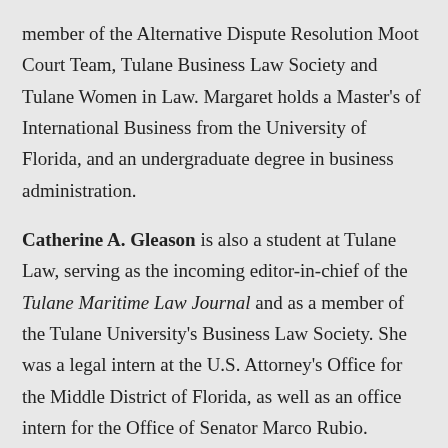member of the Alternative Dispute Resolution Moot Court Team, Tulane Business Law Society and Tulane Women in Law. Margaret holds a Master's of International Business from the University of Florida, and an undergraduate degree in business administration.
Catherine A. Gleason is also a student at Tulane Law, serving as the incoming editor-in-chief of the Tulane Maritime Law Journal and as a member of the Tulane University's Business Law Society. She was a legal intern at the U.S. Attorney's Office for the Middle District of Florida, as well as an office intern for the Office of Senator Marco Rubio. Catherine earned her bachelor's degree in economics, finance and history from Centre College in 2020.
“We are excited to mentor Maggie and Catherine this